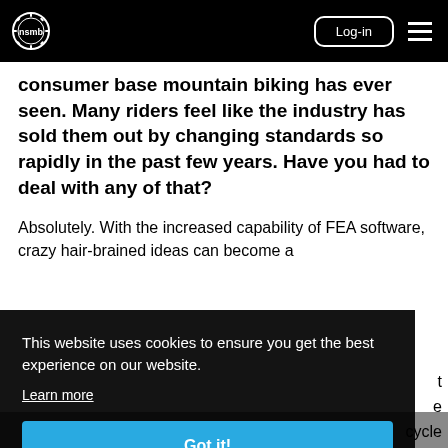NSMB logo | Log-in | Menu
consumer base mountain biking has ever seen. Many riders feel like the industry has sold them out by changing standards so rapidly in the past few years. Have you had to deal with any of that?
Absolutely. With the increased capability of FEA software, crazy hair-brained ideas can become a ... t ... e ... cycle ... e
This website uses cookies to ensure you get the best experience on our website.
Learn more
Got it!